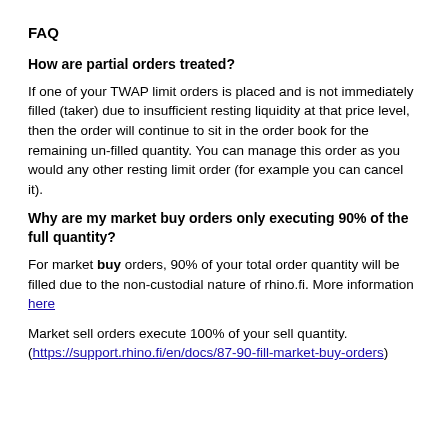FAQ
How are partial orders treated?
If one of your TWAP limit orders is placed and is not immediately filled (taker) due to insufficient resting liquidity at that price level, then the order will continue to sit in the order book for the remaining un-filled quantity. You can manage this order as you would any other resting limit order (for example you can cancel it).
Why are my market buy orders only executing 90% of the full quantity?
For market buy orders, 90% of your total order quantity will be filled due to the non-custodial nature of rhino.fi. More information here
Market sell orders execute 100% of your sell quantity. (https://support.rhino.fi/en/docs/87-90-fill-market-buy-orders)